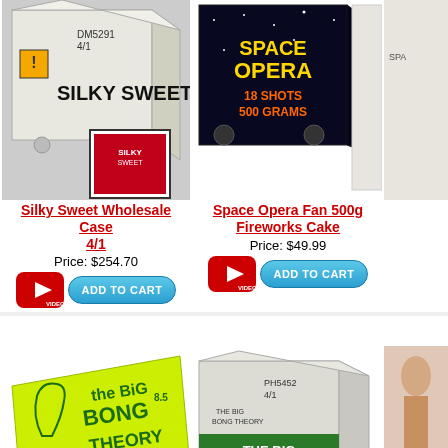[Figure (photo): Silky Sweet fireworks wholesale case (white box) with smaller red retail box inset]
[Figure (photo): Space Opera Fan 500g Fireworks Cake box with dark space-themed packaging]
[Figure (photo): Partially visible third product box on right edge]
Silky Sweet Wholesale Case 4/1
Price: $254.70
ADD TO CART
Space Opera Fan 500g Fireworks Cake
Price: $49.99
ADD TO CART
[Figure (photo): The Big Bong Theory fireworks cake in yellow-green packaging, 25 shots]
[Figure (photo): The Big Bong Theory wholesale case PH5452 4/1 in white/green box]
[Figure (photo): Partially visible person or product on right edge of bottom row]